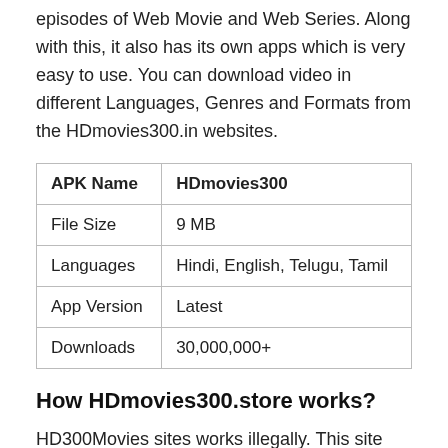episodes of Web Movie and Web Series. Along with this, it also has its own apps which is very easy to use. You can download video in different Languages, Genres and Formats from the HDmovies300.in websites.
| APK Name | HDmovies300 |
| --- | --- |
| File Size | 9 MB |
| Languages | Hindi, English, Telugu, Tamil |
| App Version | Latest |
| Downloads | 30,000,000+ |
How HDmovies300.store works?
HD300Movies sites works illegally. This site leaks the original content on its websites before or soon after its released in the cinema hall. And many times it happens that she goes to theaters and records the movies, and later